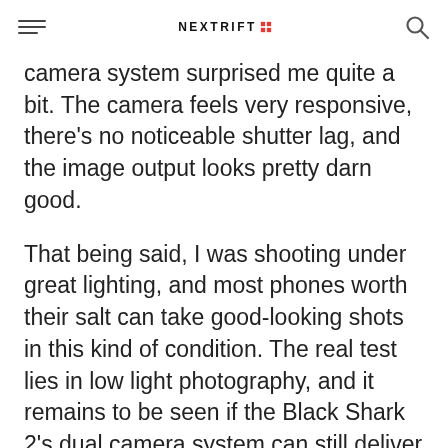NEXTRIFT [logo]
camera system surprised me quite a bit. The camera feels very responsive, there's no noticeable shutter lag, and the image output looks pretty darn good.
That being said, I was shooting under great lighting, and most phones worth their salt can take good-looking shots in this kind of condition. The real test lies in low light photography, and it remains to be seen if the Black Shark 2's dual camera system can still deliver in that aspect.
If you're into selfies, this phone has a 20MP f/2.0